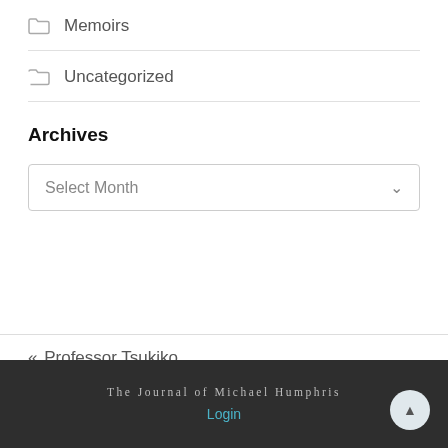Memoirs
Uncategorized
Archives
Select Month
« Professor Tsukiko
The Journal of Michael Humphris
Login